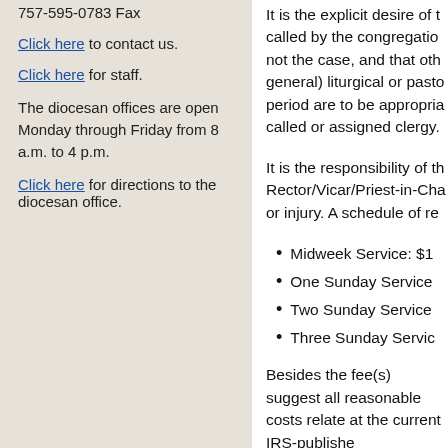757-595-0783 Fax
Click here to contact us.
Click here for staff.
The diocesan offices are open Monday through Friday from 8 a.m. to 4 p.m.
Click here for directions to the diocesan office.
It is the explicit desire of t called by the congregation not the case, and that oth general) liturgical or pasto period are to be appropriat called or assigned clergy.
It is the responsibility of th Rector/Vicar/Priest-in-Cha or injury. A schedule of re
Midweek Service: $
One Sunday Service
Two Sunday Service
Three Sunday Servic
Besides the fee(s) suggest all reasonable costs relate at the current IRS-publishe